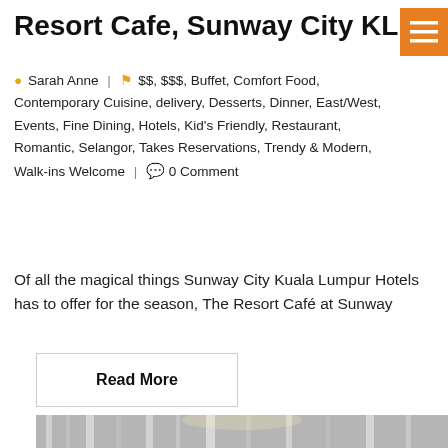Resort Cafe, Sunway City KL
Sarah Anne | $$, $$$, Buffet, Comfort Food, Contemporary Cuisine, delivery, Desserts, Dinner, East/West, Events, Fine Dining, Hotels, Kid's Friendly, Restaurant, Romantic, Selangor, Takes Reservations, Trendy & Modern, Walk-ins Welcome | 0 Comment
Of all the magical things Sunway City Kuala Lumpur Hotels has to offer for the season, The Resort Café at Sunway
Read More
[Figure (photo): Interior hotel lobby with Christmas tree, decorative lighting, and holiday decorations. Date badge showing 15 DEC overlaid on top-left corner.]